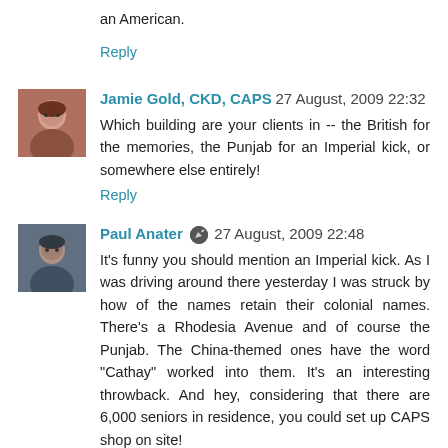an American.
Reply
Jamie Gold, CKD, CAPS 27 August, 2009 22:32
Which building are your clients in -- the British for the memories, the Punjab for an Imperial kick, or somewhere else entirely!
Reply
Paul Anater 27 August, 2009 22:48
It's funny you should mention an Imperial kick. As I was driving around there yesterday I was struck by how of the names retain their colonial names. There's a Rhodesia Avenue and of course the Punjab. The China-themed ones have the word "Cathay" worked into them. It's an interesting throwback. And hey, considering that there are 6,000 seniors in residence, you could set up CAPS shop on site!